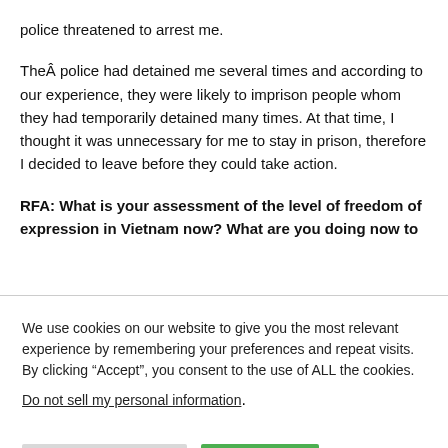police threatened to arrest me.
TheÂ police had detained me several times and according to our experience, they were likely to imprison people whom they had temporarily detained many times. At that time, I thought it was unnecessary for me to stay in prison, therefore I decided to leave before they could take action.
RFA: What is your assessment of the level of freedom of expression in Vietnam now? What are you doing now to
We use cookies on our website to give you the most relevant experience by remembering your preferences and repeat visits. By clicking “Accept”, you consent to the use of ALL the cookies.
Do not sell my personal information.